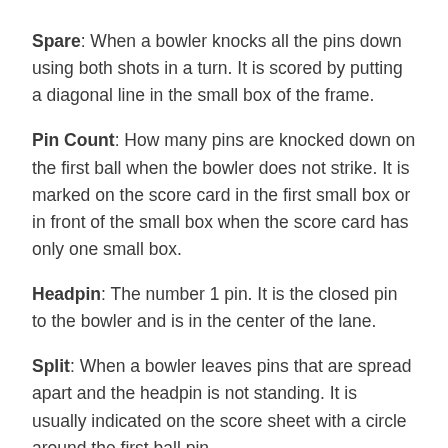Spare: When a bowler knocks all the pins down using both shots in a turn. It is scored by putting a diagonal line in the small box of the frame.
Pin Count: How many pins are knocked down on the first ball when the bowler does not strike. It is marked on the score card in the first small box or in front of the small box when the score card has only one small box.
Headpin: The number 1 pin. It is the closed pin to the bowler and is in the center of the lane.
Split: When a bowler leaves pins that are spread apart and the headpin is not standing. It is usually indicated on the score sheet with a circle around the first ball pin count.